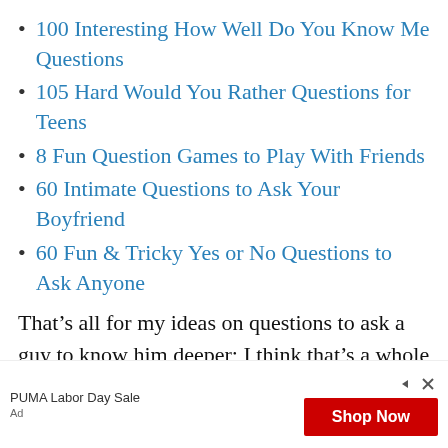100 Interesting How Well Do You Know Me Questions
105 Hard Would You Rather Questions for Teens
8 Fun Question Games to Play With Friends
60 Intimate Questions to Ask Your Boyfriend
60 Fun & Tricky Yes or No Questions to Ask Anyone
That’s all for my ideas on questions to ask a guy to know him deeper; I think that’s a whole lot of questions to ask, so have fun and enjoy.
[Figure (other): Advertisement banner for PUMA Labor Day Sale with a red Shop Now button and close/navigate icons.]